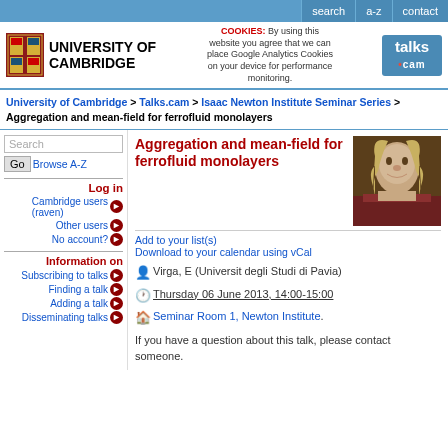search | a-z | contact
[Figure (logo): University of Cambridge coat of arms logo and text UNIVERSITY OF CAMBRIDGE]
COOKIES: By using this website you agree that we can place Google Analytics Cookies on your device for performance monitoring.
[Figure (logo): talks.cam logo]
University of Cambridge > Talks.cam > Isaac Newton Institute Seminar Series > Aggregation and mean-field for ferrofluid monolayers
Aggregation and mean-field for ferrofluid monolayers
[Figure (photo): Portrait of Isaac Newton]
Add to your list(s)
Download to your calendar using vCal
Virga, E (Universit degli Studi di Pavia)
Thursday 06 June 2013, 14:00-15:00
Seminar Room 1, Newton Institute.
If you have a question about this talk, please contact someone.